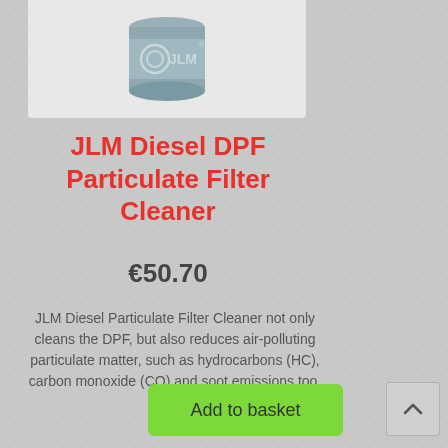[Figure (photo): JLM product can with logo, grey metallic cylindrical container]
JLM Diesel DPF Particulate Filter Cleaner
€50.70
JLM Diesel Particulate Filter Cleaner not only cleans the DPF, but also reduces air-polluting particulate matter, such as hydrocarbons (HC), carbon monoxide (CO) and soot emissions too.
Add to basket